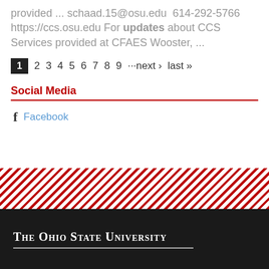provided ... schaad.15@osu.edu  614-292-5766 https://ccs.osu.edu For updates about CCS Services provided at CFAES Wooster, ...
1 2 3 4 5 6 7 8 9 ···next › last »
Social Media
f Facebook
[Figure (other): Diagonal red and white striped decorative band]
The Ohio State University